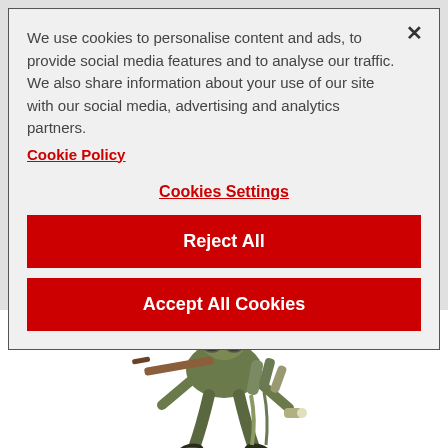We use cookies to personalise content and ads, to provide social media features and to analyse our traffic. We also share information about your use of our site with our social media, advertising and analytics partners.
Cookie Policy
Cookies Settings
Reject All
Accept All Cookies
[Figure (illustration): Illustrated mechanical/robotic figure with green camouflage suit, binoculars, and gun, shown from behind/below angle on white background]